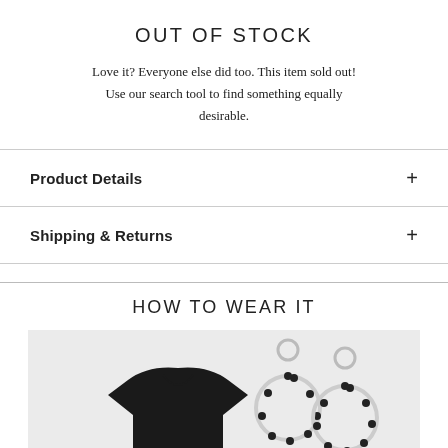OUT OF STOCK
Love it? Everyone else did too. This item sold out! Use our search tool to find something equally desirable.
Product Details
Shipping & Returns
HOW TO WEAR IT
[Figure (photo): A light grey panel showing a black oversized t-shirt on the left and silver hoop earrings with dark beads on the right, as part of a 'how to wear it' style guide.]